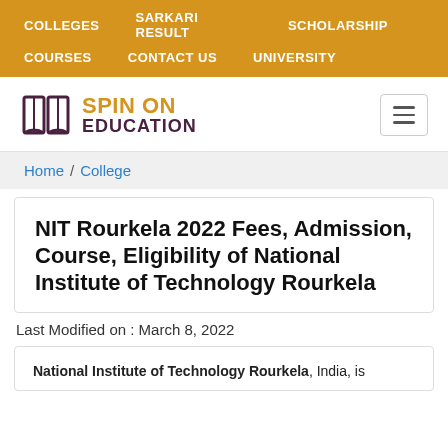COLLEGES   SARKARI RESULT   SCHOLARSHIP   COURSES   CONTACT US   UNIVERSITY
[Figure (logo): Spin On Education logo with open book icon and hamburger menu button]
Home / College
NIT Rourkela 2022 Fees, Admission, Course, Eligibility of National Institute of Technology Rourkela
Last Modified on : March 8, 2022
National Institute of Technology Rourkela, India, is